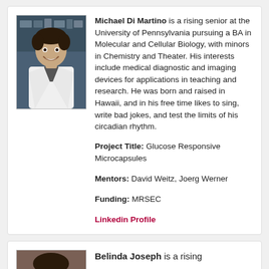[Figure (photo): Photo of Michael Di Martino, a young man in a white lab coat, smiling, in a laboratory setting]
Michael Di Martino is a rising senior at the University of Pennsylvania pursuing a BA in Molecular and Cellular Biology, with minors in Chemistry and Theater. His interests include medical diagnostic and imaging devices for applications in teaching and research. He was born and raised in Hawaii, and in his free time likes to sing, write bad jokes, and test the limits of his circadian rhythm.
Project Title: Glucose Responsive Microcapsules
Mentors: David Weitz, Joerg Werner
Funding: MRSEC
Linkedin Profile
[Figure (photo): Partial photo of Belinda Joseph, cropped at bottom of page]
Belinda Joseph is a rising